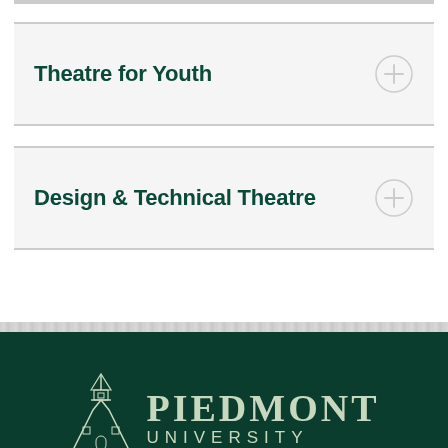Theatre for Youth
Design & Technical Theatre
[Figure (logo): Piedmont University logo — church steeple/mountain icon in outline style on dark green background with text PIEDMONT UNIVERSITY]